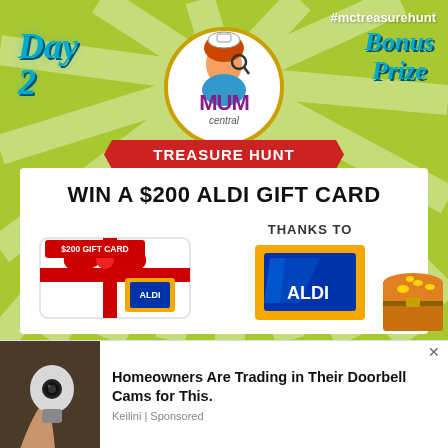[Figure (infographic): Mum Central Treasure Hunt Day 2 Bonus Prize promotional banner with green sunray background, Mum Central logo with cartoon character, red ribbon TREASURE HUNT banner, white box containing WIN A $200 ALDI GIFT CARD text, gift card image with red bow and ALDI logo, THANKS TO text with ALDI logo, treasure chest illustration, and #mctreasurehunt hashtag]
[Figure (photo): Advertisement: hand holding a light bulb shaped security camera, with text Homeowners Are Trading in Their Doorbell Cams for This. Keilini | Sponsored]